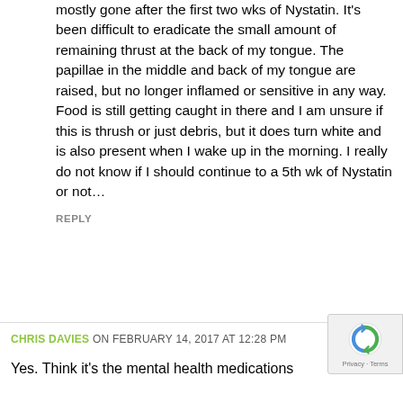mostly gone after the first two wks of Nystatin. It's been difficult to eradicate the small amount of remaining thrust at the back of my tongue. The papillae in the middle and back of my tongue are raised, but no longer inflamed or sensitive in any way. Food is still getting caught in there and I am unsure if this is thrush or just debris, but it does turn white and is also present when I wake up in the morning. I really do not know if I should continue to a 5th wk of Nystatin or not…
REPLY
CHRIS DAVIES ON FEBRUARY 14, 2017 AT 12:28 PM
Yes. Think it's the mental health medications